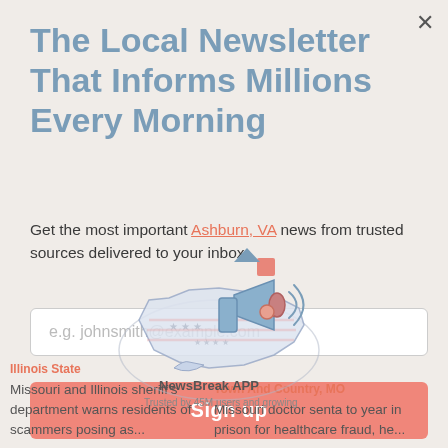The Local Newsletter That Informs Millions Every Morning
Get the most important Ashburn, VA news from trusted sources delivered to your inbox.
e.g. johnsmith@example.com
Sign up
[Figure (illustration): NewsBreak app illustration showing a US map with a megaphone icon and decorative elements, with text 'NewsBreak APP' and 'Trusted by 45M users and growing']
Illinois State
Missouri and Illinois sheriff's department warns residents of scammers posing as...
Town And Country, MO
Missouri doctor sentenced to year in prison for healthcare fraud, he...